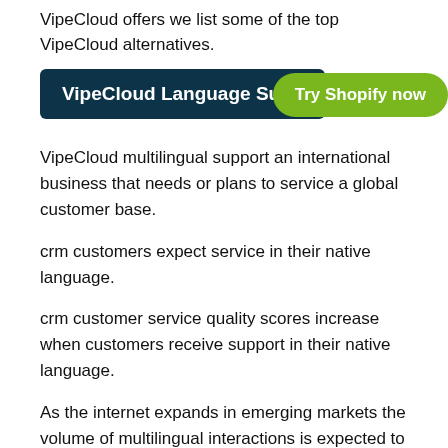VipeCloud offers we list some of the top VipeCloud alternatives.
VipeCloud Language Supp
VipeCloud multilingual support an international business that needs or plans to service a global customer base.
crm customers expect service in their native language.
crm customer service quality scores increase when customers receive support in their native language.
As the internet expands in emerging markets the volume of multilingual interactions is expected to